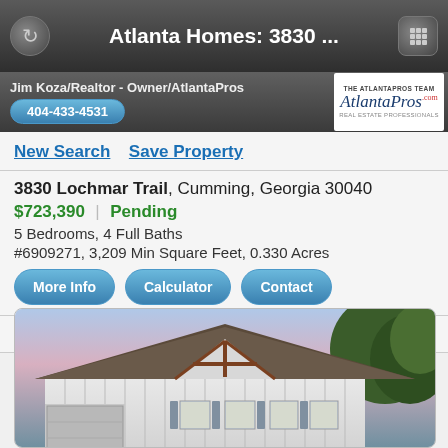Atlanta Homes: 3830 ...
Jim Koza/Realtor - Owner/AtlantaPros
404-433-4531
New Search   Save Property
3830 Lochmar Trail, Cumming, Georgia 30040
$723,390 | Pending
5 Bedrooms, 4 Full Baths
#6909271, 3,209 Min Square Feet, 0.330 Acres
More Info   Calculator   Contact
Share Property
[Figure (photo): Exterior photo of a new construction home at 3830 Lochmar Trail, Cumming, Georgia. White board-and-batten siding, dark shingle roof, decorative gable with brown wood accents, gray shutters on windows, evening lighting.]